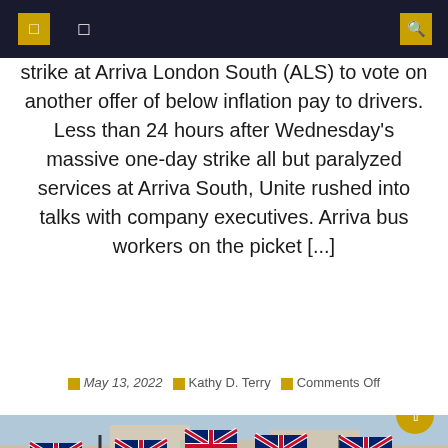navigation header with icons
strike at Arriva London South (ALS) to vote on another offer of below inflation pay to drivers. Less than 24 hours after Wednesday's massive one-day strike all but paralyzed services at Arriva South, Unite rushed into talks with company executives. Arriva bus workers on the picket [...]
May 13, 2022  Kathy D. Terry  Comments Off
[Figure (photo): Street scene in London with Union Jack flags hanging across a street, crowds of people walking below, classical buildings in background.]